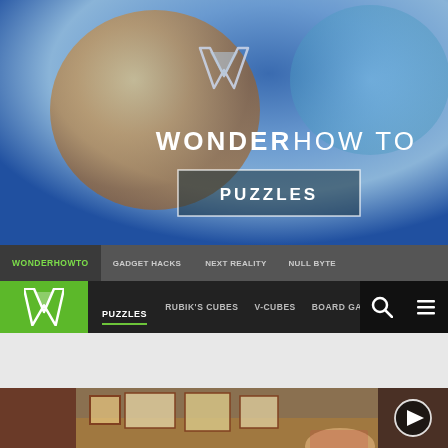[Figure (screenshot): WonderHowTo website hero banner with logo, site title WONDER HOW TO, and PUZZLES button on a blue/golden gradient background]
WONDERHOWTO   GADGET HACKS   NEXT REALITY   NULL BYTE
PUZZLES   RUBIK'S CUBES   V-CUBES   BOARD GAMES
[Figure (photo): Rubik's cubes of various sizes arranged on a wooden table with a play button overlay]